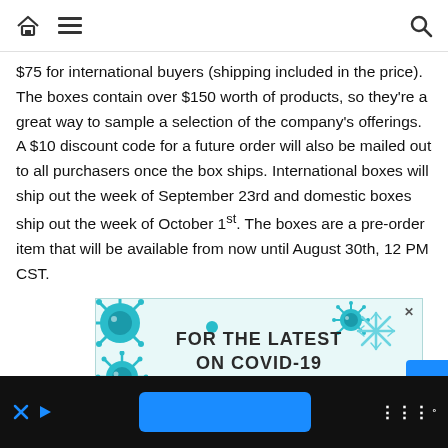Home | Menu | Search
$75 for international buyers (shipping included in the price). The boxes contain over $150 worth of products, so they’re a great way to sample a selection of the company’s offerings. A $10 discount code for a future order will also be mailed out to all purchasers once the box ships. International boxes will ship out the week of September 23rd and domestic boxes ship out the week of October 1st. The boxes are a pre-order item that will be available from now until August 30th, 12 PM CST.
[Figure (illustration): COVID-19 advertisement banner with teal coronavirus illustrations and text: FOR THE LATEST ON COVID-19 GO TO THE]
Bottom navigation bar with ad icons, blue button, and logo